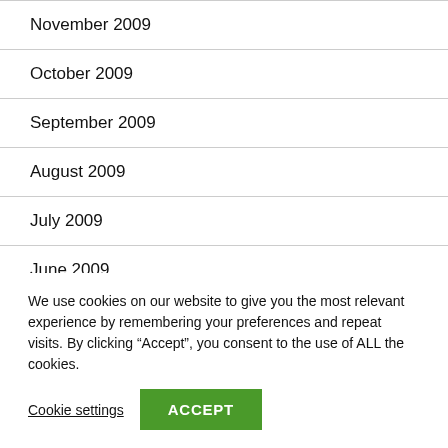November 2009
October 2009
September 2009
August 2009
July 2009
June 2009
May 2009
We use cookies on our website to give you the most relevant experience by remembering your preferences and repeat visits. By clicking “Accept”, you consent to the use of ALL the cookies.
Cookie settings  ACCEPT